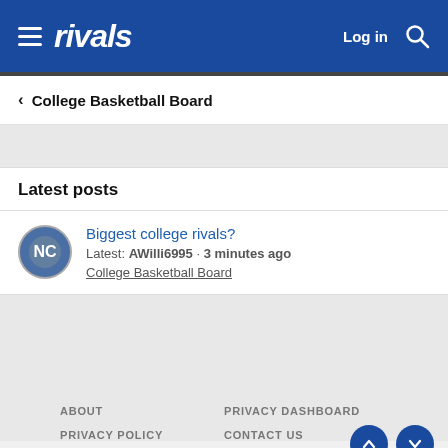rivals — Log in
< College Basketball Board
Latest posts
Biggest college rivals? Latest: AWilli6995 · 3 minutes ago College Basketball Board
ABOUT  PRIVACY DASHBOARD  PRIVACY POLICY  CONTACT US